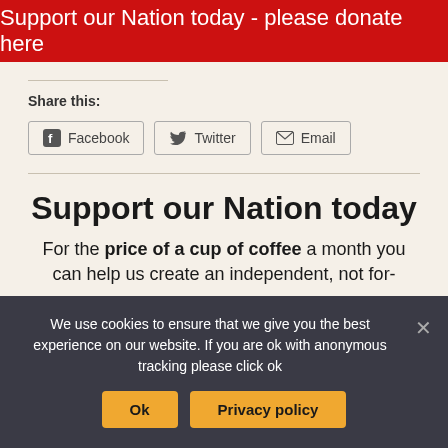Support our Nation today - please donate here
Share this:
Facebook  Twitter  Email
Support our Nation today
For the price of a cup of coffee a month you can help us create an independent, not for-
We use cookies to ensure that we give you the best experience on our website. If you are ok with anonymous tracking please click ok
Ok  Privacy policy